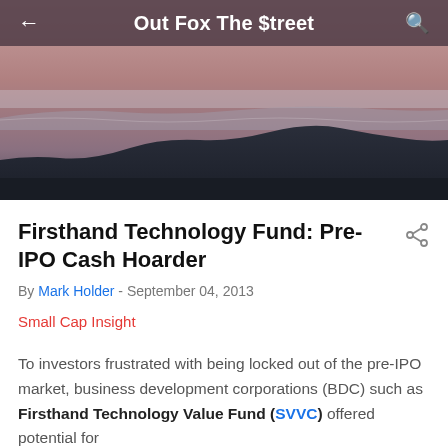Out Fox The $treet
[Figure (photo): Landscape photo of mountain silhouette at dusk with pink-purple sky and a hazy horizon line]
Firsthand Technology Fund: Pre-IPO Cash Hoarder
By Mark Holder - September 04, 2013
Small Cap Insight
To investors frustrated with being locked out of the pre-IPO market, business development corporations (BDC) such as Firsthand Technology Value Fund (SVVC) offered potential for